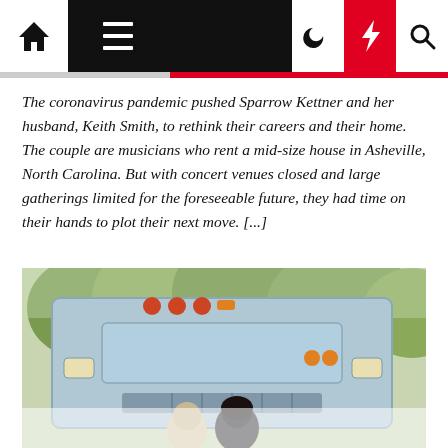Navigation bar with home, menu, moon, bolt, and search icons
The coronavirus pandemic pushed Sparrow Kettner and her husband, Keith Smith, to rethink their careers and their home. The couple are musicians who rent a mid-size house in Asheville, North Carolina. But with concert venues closed and large gatherings limited for the foreseeable future, they had time on their hands to plot their next move. [...]
[Figure (photo): A blue school bus/converted bus parked outdoors with trees in background; a couple visible in the lower portion of the image in front of the bus]